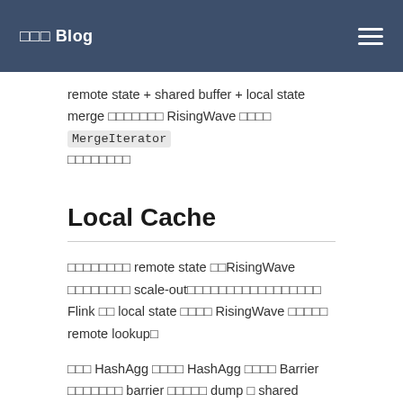□□□ Blog
remote state + shared buffer + local state merge □□□□□□□ RisingWave □□□□ MergeIterator □□□□□□□□
Local Cache
□□□□□□□□ remote state □□RisingWave □□□□□□□□ scale-out□□□□□□□□□□□□□□□□□ Flink □□ local state □□□□ RisingWave □□□□□ remote lookup□
□□□ HashAgg □□□□ HashAgg □□□□ Barrier □□□□□□□ barrier □□□□□ dump □ shared buffer□□□□□□□□ state □□□□□□□□□□□□□ epoch □□□□□□□□□□□□ group key □□□□□□□□□□□□□□□□□ shared buffer □□ remote state □□□□□□ key □□□□□□□□□□□□□□□□□□□□□□□ epoch □ local state □□□□□□□□ svistable□□□□□□□□□□□□□